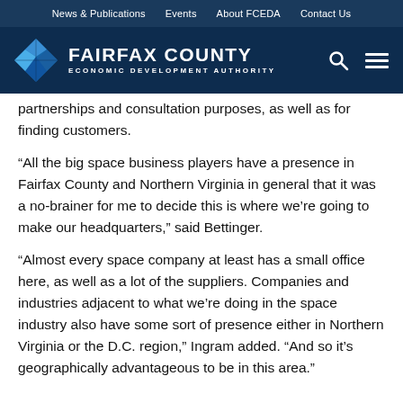News & Publications  Events  About FCEDA  Contact Us
[Figure (logo): Fairfax County Economic Development Authority logo with diamond shape and white text on dark navy background, plus search and menu icons]
partnerships and consultation purposes, as well as for finding customers.
“All the big space business players have a presence in Fairfax County and Northern Virginia in general that it was a no-brainer for me to decide this is where we’re going to make our headquarters,” said Bettinger.
“Almost every space company at least has a small office here, as well as a lot of the suppliers. Companies and industries adjacent to what we’re doing in the space industry also have some sort of presence either in Northern Virginia or the D.C. region,” Ingram added. “And so it’s geographically advantageous to be in this area.”